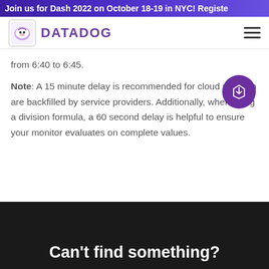Join us for Dash 2022 on October 18-19 in NYC! Register
[Figure (logo): Datadog logo with dog icon and purple DATADOG wordmark, hamburger menu icon on right]
from 6:40 to 6:45.
Note: A 15 minute delay is recommended for cloud m… which are backfilled by service providers. Additionally, when using a division formula, a 60 second delay is helpful to ensure your monitor evaluates on complete values.
Can't find something?